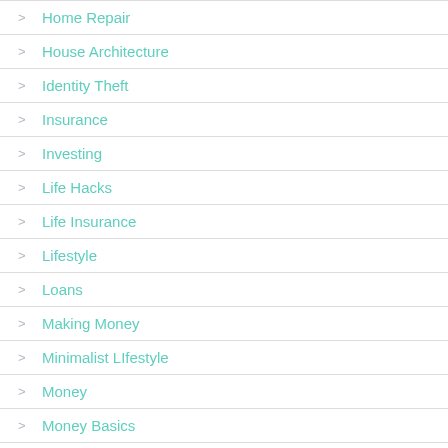Home Repair
House Architecture
Identity Theft
Insurance
Investing
Life Hacks
Life Insurance
Lifestyle
Loans
Making Money
Minimalist LIfestyle
Money
Money Basics
Money Etiquette